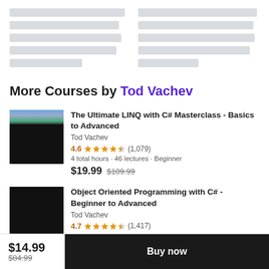[Figure (screenshot): Skeleton loading bars in two columns at top of page]
More Courses by Tod Vachev
[Figure (screenshot): Course thumbnail for The Ultimate LINQ with C# Masterclass - black with green landscape thumbnail strip]
The Ultimate LINQ with C# Masterclass - Basics to Advanced
Tod Vachev
4.6 ★★★★½ (1,079)
4 total hours · 46 lectures · Beginner
$19.99  $109.99
[Figure (screenshot): Course thumbnail for Object Oriented Programming with C# - solid black]
Object Oriented Programming with C# - Beginner to Advanced
Tod Vachev
4.7 ★★★★½ (1,417)
$14.99  $84.99
Buy now